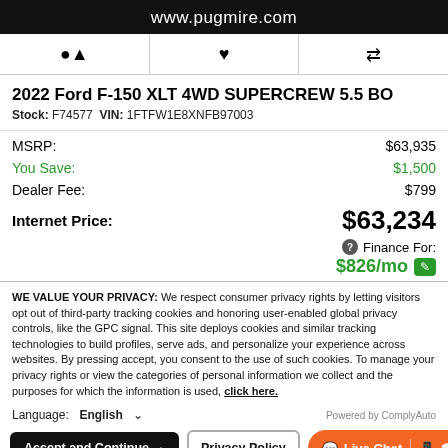www.pugmire.com
[Figure (screenshot): Three icon buttons: bell, heart, and arrows/compare icons in a row]
2022 Ford F-150 XLT 4WD SUPERCREW 5.5 BO
Stock: F74577 VIN: 1FTFW1E8XNFB97003
| Label | Value |
| --- | --- |
| MSRP: | $63,935 |
| You Save: | $1,500 |
| Dealer Fee: | $799 |
| Internet Price: | $63,234 |
| Finance For: | $826/mo |
WE VALUE YOUR PRIVACY: We respect consumer privacy rights by letting visitors opt out of third-party tracking cookies and honoring user-enabled global privacy controls, like the GPC signal. This site deploys cookies and similar tracking technologies to build profiles, serve ads, and personalize your experience across websites. By pressing accept, you consent to the use of such cookies. To manage your privacy rights or view the categories of personal information we collect and the purposes for which the information is used, click here.
Language: English
Powered by ComplyAuto
Accept and Continue →   Privacy Policy   Live Chat